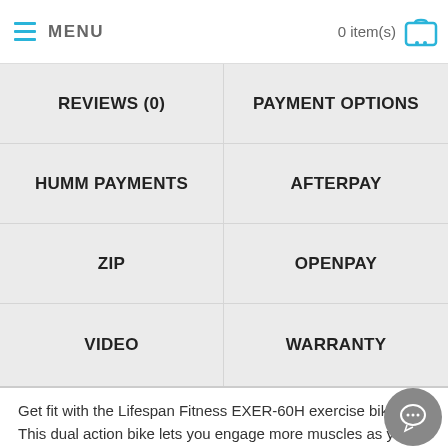MENU   0 item(s)
REVIEWS (0)
PAYMENT OPTIONS
HUMM PAYMENTS
AFTERPAY
ZIP
OPENPAY
VIDEO
WARRANTY
Get fit with the Lifespan Fitness EXER-60H exercise bike. This dual action bike lets you engage more muscles as you ride. Engage your upper body in the workout with In-Motion handlebars for the most comprehensive cardiovascular exercise. Experience a full body cardio workout with the EXER-60H exercise bike.
[Figure (infographic): Four feature icons: Heavy Duty Magnetic Flywheel, 4-Way Saddle Adjustment, Pulse Sensors, Multi-Functional Display (LCD)]